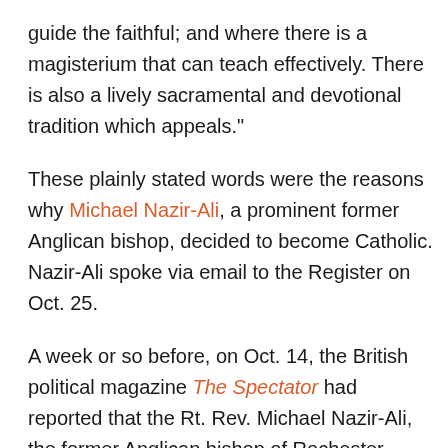guide the faithful; and where there is a magisterium that can teach effectively. There is also a lively sacramental and devotional tradition which appeals."
These plainly stated words were the reasons why Michael Nazir-Ali, a prominent former Anglican bishop, decided to become Catholic. Nazir-Ali spoke via email to the Register on Oct. 25.
A week or so before, on Oct. 14, the British political magazine The Spectator had reported that the Rt. Rev. Michael Nazir-Ali, the former Anglican bishop of Rochester, England, had joined the Personal Ordinariate of Our Lady of Walsingham. This personal ordinariate, directly subject to the Holy See, was established by Pope Benedict XVI in 2011 to allow Anglicans to enter into full communion with the Catholic Church while preserving elements of their